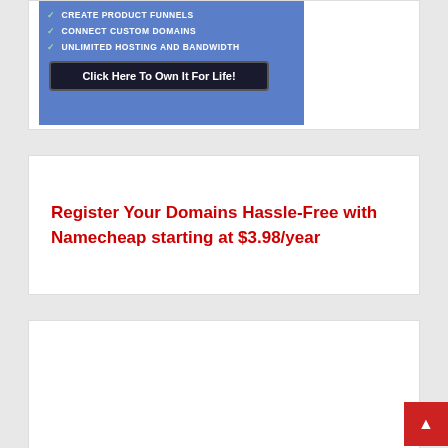CREATE PRODUCT FUNNELS
CONNECT CUSTOM DOMAINS
UNLIMITED HOSTING AND BANDWIDTH
Click Here To Own It For Life!
Register Your Domains Hassle-Free with Namecheap starting at $3.98/year